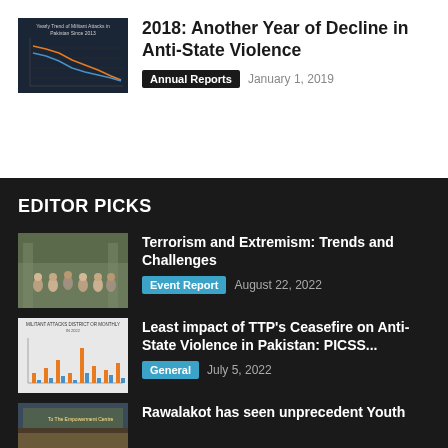[Figure (line-chart): Trend of militant attacks in Pakistan since 2013, dark background with orange and blue lines declining over time]
2018: Another Year of Decline in Anti-State Violence
Annual Reports   January 1, 2019
EDITOR PICKS
[Figure (photo): Group photo of conference attendees outside a building]
Terrorism and Extremism: Trends and Challenges
Event Report   August 22, 2022
[Figure (bar-chart): Militant attacks by district or month in 2022, bar chart with blue and orange bars]
Least impact of TTP's Ceasefire on Anti-State Violence in Pakistan: PICSS...
General   July 5, 2022
[Figure (photo): Indoor event photo with banner or sign visible]
Rawalakot has seen unprecedent Youth